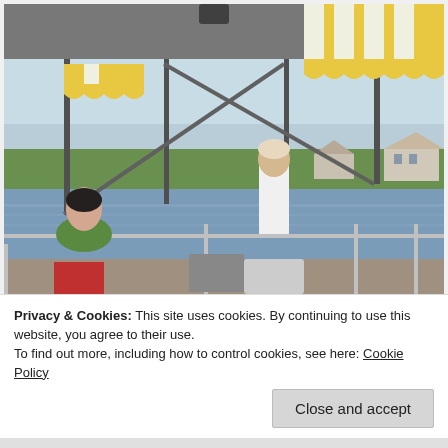[Figure (photo): People on a covered pontoon/tour boat on a lake or river. A woman in green shirt sits on the left, a man in white shirt stands in the middle background, and a man in a yellow polo shirt and tan cap sits in the foreground right. Yellow and white striped canopy overhead. Houses and trees visible on the far shore.]
Privacy & Cookies: This site uses cookies. By continuing to use this website, you agree to their use.
To find out more, including how to control cookies, see here: Cookie Policy